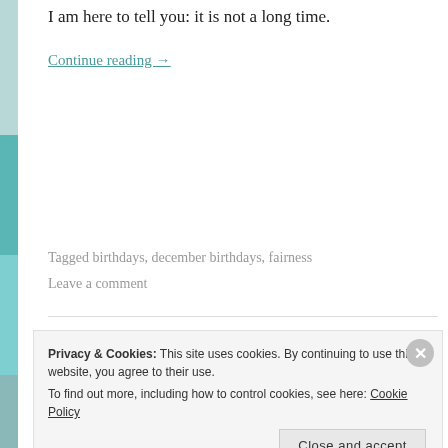I am here to tell you: it is not a long time.
Continue reading →
Tagged birthdays, december birthdays, fairness
Leave a comment
Privacy & Cookies: This site uses cookies. By continuing to use this website, you agree to their use. To find out more, including how to control cookies, see here: Cookie Policy
Close and accept